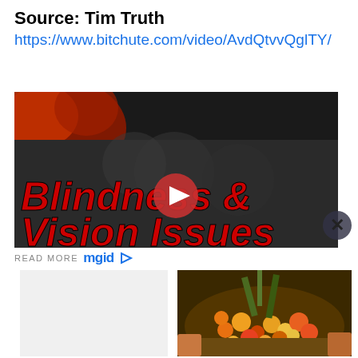Source: Tim Truth
https://www.bitchute.com/video/AvdQtvvQglTY/
[Figure (screenshot): Video thumbnail showing 'Blindness & Vision Issues' in large red bold italic text over a dark background with red foliage, with a play button overlay]
READ MORE mgid
[Figure (photo): Photo of palm oil fruits in a basket being held by a person]
From Monsters And Slashers To Haunted Hotels: Best Horror Films
What's Happening With Palm Oil Today